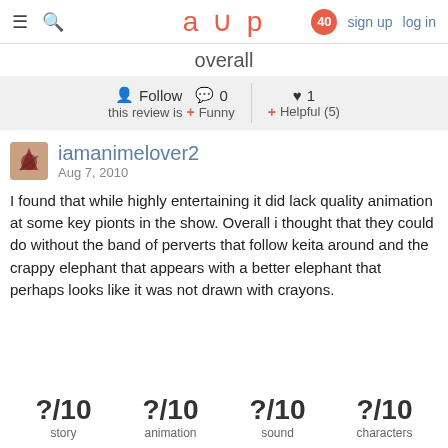≡ 🔍  aup  40  sign up  log in
overall
Follow  0  + Funny
this review is  ♥ 1  + Helpful (5)
iamanimelover2
Aug 7, 2010
I found that while highly entertaining it did lack quality animation at some key pionts in the show. Overall i thought that they could do without the band of perverts that follow keita around and the crappy elephant that appears with a better elephant that perhaps looks like it was not drawn with crayons.
?/10 story  ?/10 animation  ?/10 sound  ?/10 characters